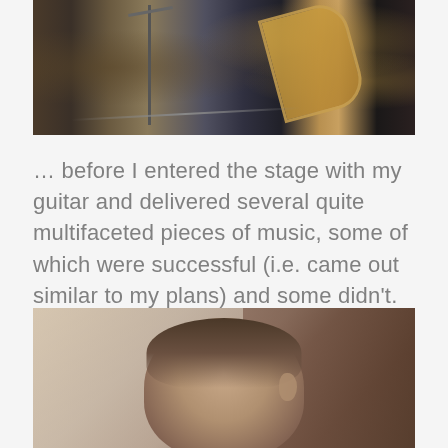[Figure (photo): A musician on stage with a saxophone visible, music stand in background, dark ambient stage lighting]
… before I entered the stage with my guitar and delivered several quite multifaceted pieces of music, some of which were successful (i.e. came out similar to my plans) and some didn't. Oh well. I am still learning!
[Figure (photo): Close-up photo of a man with dark hair, seen from behind/side, head slightly bowed, light background on left and warm/dark background on right]